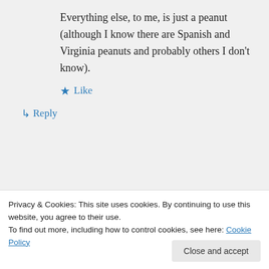Everything else, to me, is just a peanut (although I know there are Spanish and Virginia peanuts and probably others I don't know).
★ Like
↳ Reply
[Figure (screenshot): Green banner advertisement for WordPress backup plugin]
Privacy & Cookies: This site uses cookies. By continuing to use this website, you agree to their use.
To find out more, including how to control cookies, see here: Cookie Policy
Close and accept